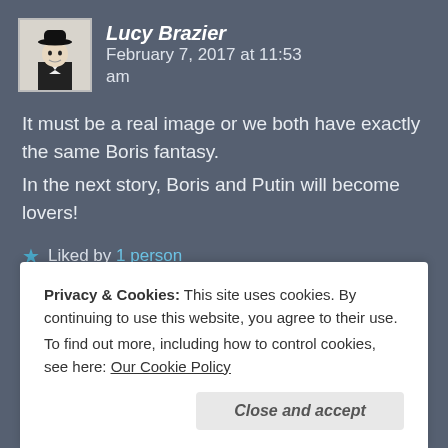[Figure (illustration): Avatar image of Lucy Brazier: a black and white illustration of a figure wearing a bowler hat]
Lucy Brazier   February 7, 2017 at 11:53 am
It must be a real image or we both have exactly the same Boris fantasy.
In the next story, Boris and Putin will become lovers!
★ Liked by 1 person
Privacy & Cookies: This site uses cookies. By continuing to use this website, you agree to their use.
To find out more, including how to control cookies, see here: Our Cookie Policy
Close and accept